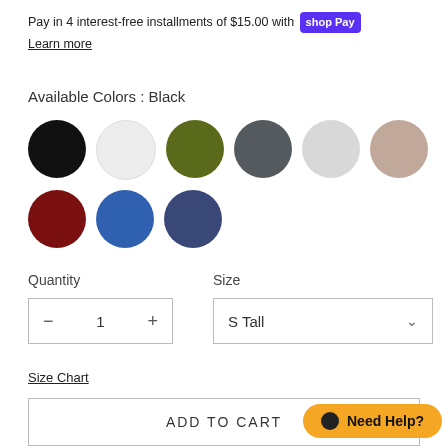Pay in 4 interest-free installments of $15.00 with shop Pay
Learn more
Available Colors : Black
[Figure (other): Color swatches: black, white, olive green, dark gray, light gray, tan/beige, dark red/maroon, blue, navy blue]
Quantity
Size
[Figure (other): Quantity selector box showing minus button, 1, plus button]
[Figure (other): Size dropdown selector showing S Tall with chevron]
Size Chart
ADD TO CART
Need Help?
ABOUT OUR HOODIES FOR TALL MEN